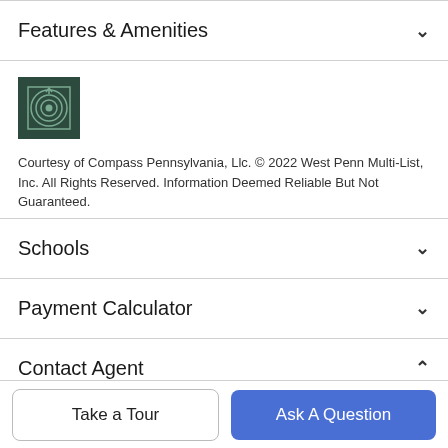Features & Amenities
[Figure (logo): West Penn Multi-List logo — dark green square with concentric circular target icon]
Courtesy of Compass Pennsylvania, Llc. © 2022 West Penn Multi-List, Inc. All Rights Reserved. Information Deemed Reliable But Not Guaranteed.
Schools
Payment Calculator
Contact Agent
Take a Tour
Ask A Question